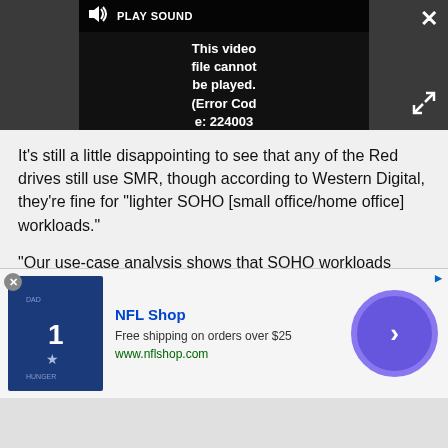[Figure (screenshot): Video player showing error: 'This video file cannot be played. (Error Code: 224003)' with PLAY SOUND button, close X button, and expand arrows]
It's still a little disappointing to see that any of the Red drives still use SMR, though according to Western Digital, they're fine for "lighter SOHO [small office/home office] workloads."
"Our use-case analysis shows that SOHO workloads typically are based on short periods of access to the drives. This results in extremely low average throughout (compared with the drive's available
[Figure (screenshot): NFL Shop advertisement banner. Free shipping on orders over $25. www.nflshop.com. Shows Dallas Cowboys jersey image and purple circle arrow button.]